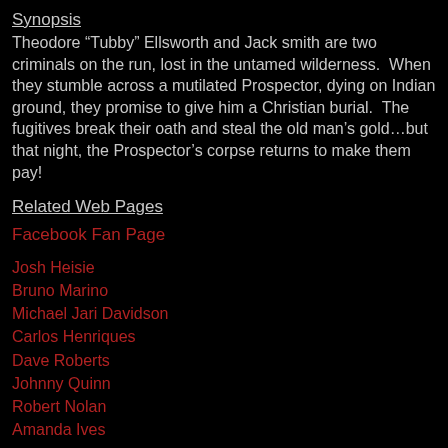Synopsis
Theodore “Tubby” Ellsworth and Jack smith are two criminals on the run, lost in the untamed wilderness.  When they stumble across a mutilated Prospector, dying on Indian ground, they promise to give him a Christian burial.  The fugitives break their oath and steal the old man’s gold…but that night, the Prospector’s corpse returns to make them pay!
Related Web Pages
Facebook Fan Page
Josh Heisie
Bruno Marino
Michael Jari Davidson
Carlos Henriques
Dave Roberts
Johnny Quinn
Robert Nolan
Amanda Ives